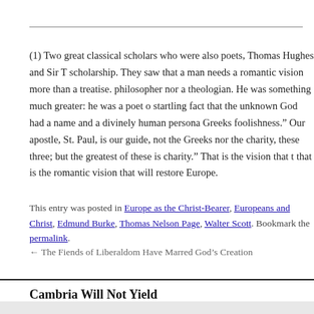(1) Two great classical scholars who were also poets, Thomas Hughes and Sir T... scholarship. They saw that a man needs a romantic vision more than a treatise. philosopher nor a theologian. He was something much greater: he was a poet o... startling fact that the unknown God had a name and a divinely human persona... Greeks foolishness.” Our apostle, St. Paul, is our guide, not the Greeks nor the... charity, these three; but the greatest of these is charity.” That is the vision that t... that is the romantic vision that will restore Europe.
This entry was posted in Europe as the Christ-Bearer, Europeans and Christ, Edmund Burke, Thomas Nelson Page, Walter Scott. Bookmark the permalink.
← The Fiends of Liberaldom Have Marred God’s Creation
Cambria Will Not Yield